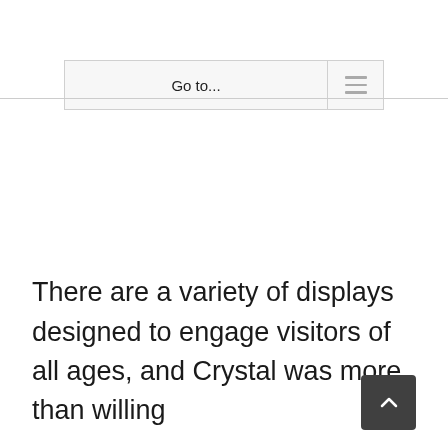Go to...
There are a variety of displays designed to engage visitors of all ages, and Crystal was more than willing